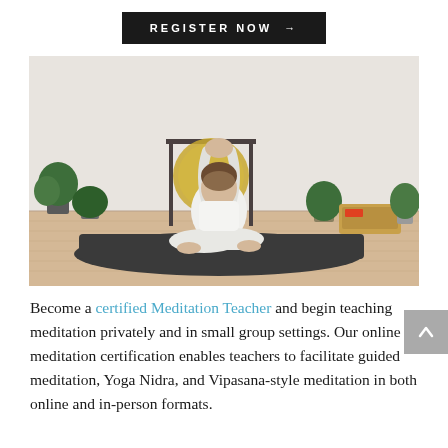REGISTER NOW →
[Figure (photo): A woman in white clothing sitting on a dark yoga mat in a meditation pose with hands raised above her head, surrounded by plants, a large gong, and wooden harmonium in a bright studio with light wood flooring.]
Become a certified Meditation Teacher and begin teaching meditation privately and in small group settings. Our online meditation certification enables teachers to facilitate guided meditation, Yoga Nidra, and Vipasana-style meditation in both online and in-person formats.